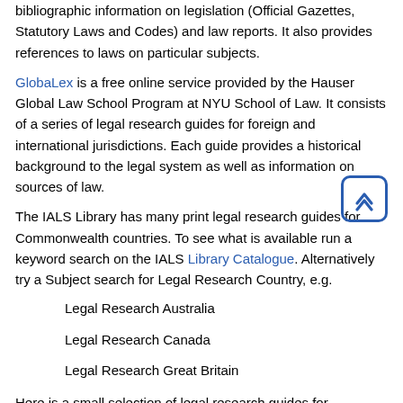bibliographic information on legislation (Official Gazettes, Statutory Laws and Codes) and law reports. It also provides references to laws on particular subjects.
GlobaLex is a free online service provided by the Hauser Global Law School Program at NYU School of Law. It consists of a series of legal research guides for foreign and international jurisdictions. Each guide provides a historical background to the legal system as well as information on sources of law.
The IALS Library has many print legal research guides for Commonwealth countries. To see what is available run a keyword search on the IALS Library Catalogue. Alternatively try a Subject search for Legal Research Country, e.g.
Legal Research Australia
Legal Research Canada
Legal Research Great Britain
Here is a small selection of legal research guides for Commonwealth countries in the IALS Library to illustrate the type of material available: